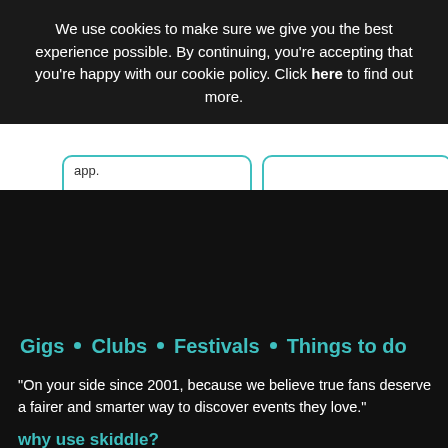We use cookies to make sure we give you the best experience possible. By continuing, you're accepting that you're happy with our cookie policy. Click here to find out more.
app.
Gigs • Clubs • Festivals • Things to do
“On your side since 2001, because we believe true fans deserve a fairer and smarter way to discover events they love.”
why use skiddle?